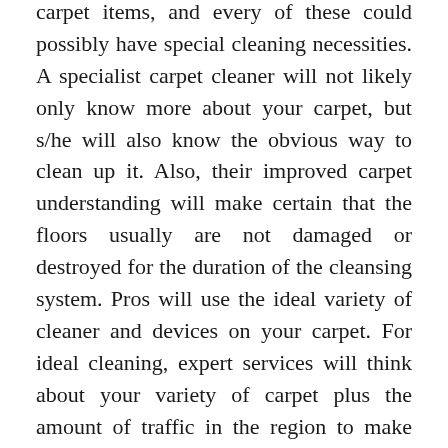carpet items, and every of these could possibly have special cleaning necessities. A specialist carpet cleaner will not likely only know more about your carpet, but s/he will also know the obvious way to clean up it. Also, their improved carpet understanding will make certain that the floors usually are not damaged or destroyed for the duration of the cleansing system. Pros will use the ideal variety of cleaner and devices on your carpet. For ideal cleaning, expert services will think about your variety of carpet plus the amount of traffic in the region to make sure that the rug or carpet is cleaned carefully and all dust and allergens are taken off.
Ultimately, lots of do-it-yourself cleaners will not likely take into consideration the